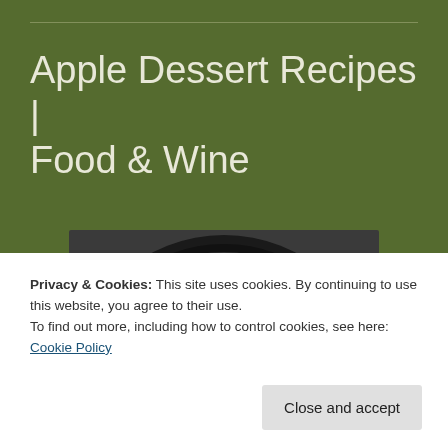Apple Dessert Recipes | Food & Wine
[Figure (photo): Close-up photo of caramelized apple tarte tatin dessert in a black round pan, showing golden-brown glazed apple pieces arranged in a circular pattern]
Privacy & Cookies: This site uses cookies. By continuing to use this website, you agree to their use.
To find out more, including how to control cookies, see here: Cookie Policy
Close and accept